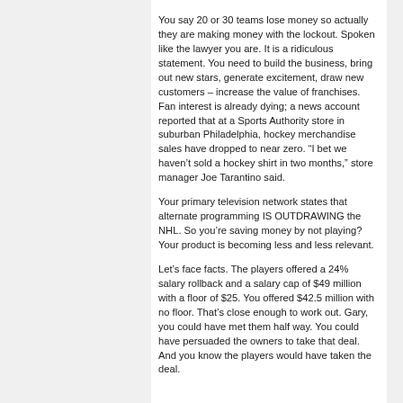You say 20 or 30 teams lose money so actually they are making money with the lockout. Spoken like the lawyer you are. It is a ridiculous statement. You need to build the business, bring out new stars, generate excitement, draw new customers – increase the value of franchises. Fan interest is already dying; a news account reported that at a Sports Authority store in suburban Philadelphia, hockey merchandise sales have dropped to near zero. “I bet we haven’t sold a hockey shirt in two months,” store manager Joe Tarantino said. Your primary television network states that alternate programming IS OUTDRAWING the NHL. So you’re saving money by not playing? Your product is becoming less and less relevant. Let’s face facts. The players offered a 24% salary rollback and a salary cap of $49 million with a floor of $25. You offered $42.5 million with no floor. That’s close enough to work out. Gary, you could have met them half way. You could have persuaded the owners to take that deal. And you know the players would have taken the deal.